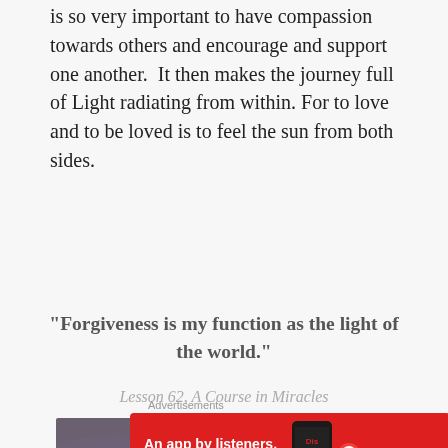is so very important to have compassion towards others and encourage and support one another.  It then makes the journey full of Light radiating from within. For to love and to be loved is to feel the sun from both sides.
“Forgiveness is my function as the light of the world.”
Lesson 62, A Course in Miracles
[Figure (photo): A dramatic sky scene with dark storm clouds and a bright light source (sun or light beam) radiating from the upper right, creating a mystical, spiritual atmosphere.]
Advertisements
[Figure (screenshot): Red advertisement banner for Pocket Casts app. Text reads: An app by listeners, for listeners. Shows a smartphone with the app and the Pocket Casts logo.]